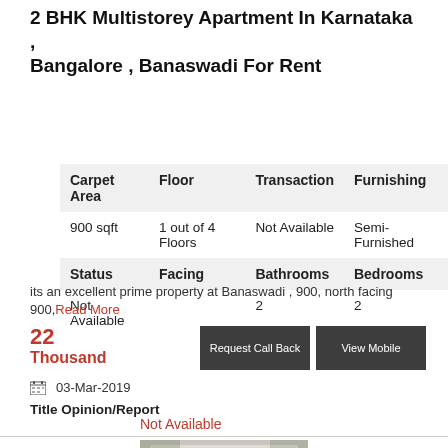2 BHK Multistorey Apartment In Karnataka , Bangalore , Banaswadi For Rent
| Carpet Area | Floor | Transaction | Furnishing |
| --- | --- | --- | --- |
| 900 sqft | 1 out of 4 Floors | Not Available | Semi-Furnished |
| Status | Facing | Bathrooms | Bedrooms |
| Not Available |  | 2 | 2 |
its an excellent prime property at Banaswadi , 900, north facing 900, Read More
22 Thousand
03-Mar-2019
Title Opinion/Report
Not Available
[Figure (photo): Exterior photo of a multistorey apartment building in Banaswadi, Bangalore]